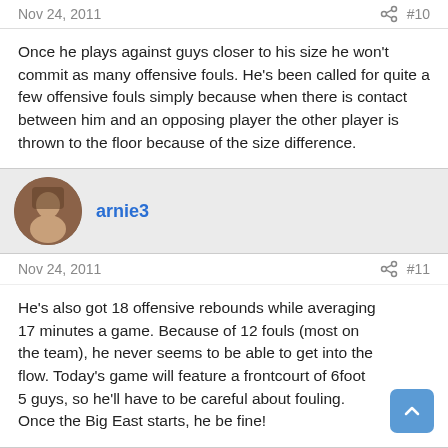Nov 24, 2011   #10
Once he plays against guys closer to his size he won't commit as many offensive fouls. He's been called for quite a few offensive fouls simply because when there is contact between him and an opposing player the other player is thrown to the floor because of the size difference.
arnie3
Nov 24, 2011   #11
He's also got 18 offensive rebounds while averaging 17 minutes a game. Because of 12 fouls (most on the team), he never seems to be able to get into the flow. Today's game will feature a frontcourt of 6foot 5 guys, so he'll have to be careful about fouling. Once the Big East starts, he be fine!
Huskybass